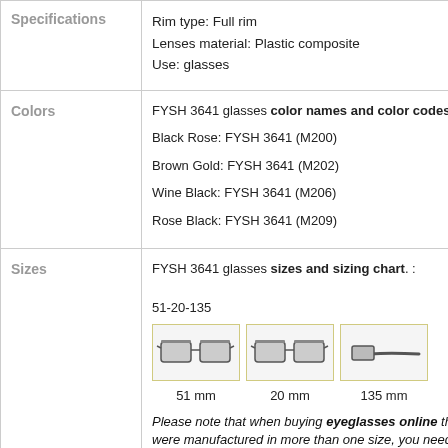|  |  |
| --- | --- |
| Specifications | Rim type: Full rim
Lenses material: Plastic composite
Use: glasses |
| Colors | FYSH 3641 glasses color names and color codes:

Black Rose: FYSH 3641 (M200)

Brown Gold: FYSH 3641 (M202)

Wine Black: FYSH 3641 (M206)

Rose Black: FYSH 3641 (M209) |
| Sizes | FYSH 3641 glasses sizes and sizing chart. :

51-20-135

[glasses images: 51 mm, 20 mm, 135 mm]

Please note that when buying eyeglasses online that were manufactured in more than one size, you need to be attentive, especially if |